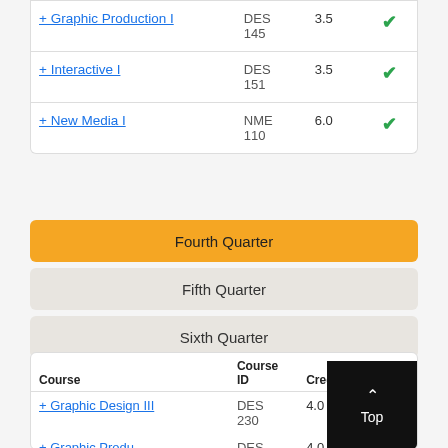| Course | Course ID | Credits | Avail |
| --- | --- | --- | --- |
| + Graphic Production I | DES 145 | 3.5 | ✓ |
| + Interactive I | DES 151 | 3.5 | ✓ |
| + New Media I | NME 110 | 6.0 | ✓ |
Fourth Quarter
Fifth Quarter
Sixth Quarter
| Course | Course ID | Credits | Avail |
| --- | --- | --- | --- |
| + Graphic Design III | DES 230 | 4.0 |  |
| + Graphic Production II | DES | 4.0 | ✓ |